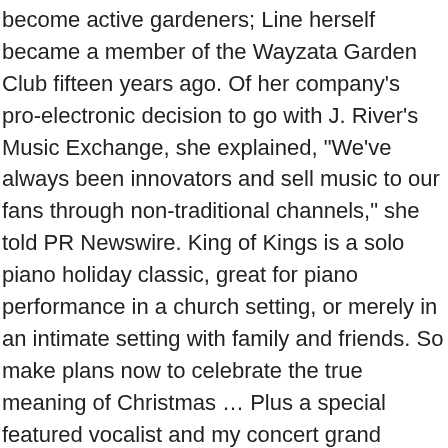become active gardeners; Line herself became a member of the Wayzata Garden Club fifteen years ago. Of her company's pro-electronic decision to go with J. River's Music Exchange, she explained, "We've always been innovators and sell music to our fans through non-traditional channels," she told PR Newswire. King of Kings is a solo piano holiday classic, great for piano performance in a church setting, or merely in an intimate setting with family and friends. So make plans now to celebrate the true meaning of Christmas … Plus a special featured vocalist and my concert grand piano, which always takes center stage. GREEN BAY, Wis. (WFRV) – Along with a few performances that are happening live with in-person audiences, below is an overview of performances that were to take place in … Helpful. 1.2. >Click here to … Comment